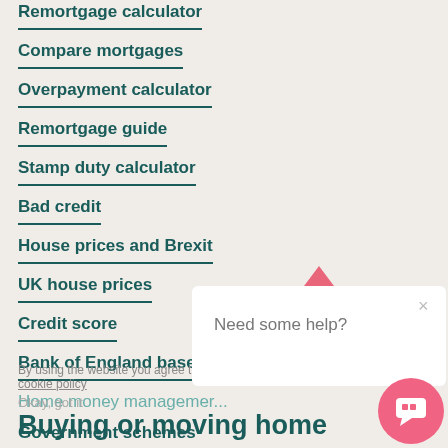Remortgage calculator
Compare mortgages
Overpayment calculator
Remortgage guide
Stamp duty calculator
Bad credit
House prices and Brexit
UK house prices
Credit score
Bank of England base rate
Home money management
Government schemes
By using the website you agree to our cookie policy
Okay, got it
Buying or moving home
[Figure (screenshot): Chat popup with 'Need some help?' text, close button (×), pink upward arrow, and pink chat bubble button in bottom right corner]